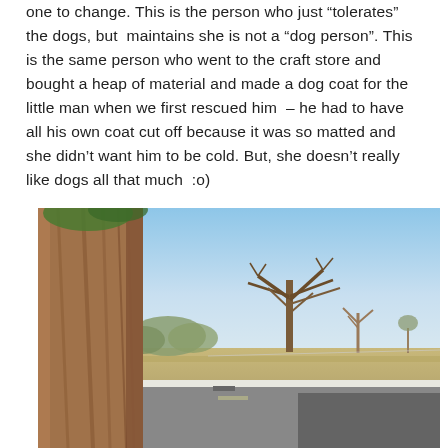one to change. This is the person who just “tolerates” the dogs, but  maintains she is not a “dog person”. This is the same person who went to the craft store and bought a heap of material and made a dog coat for the little man when we first rescued him – he had to have all his own coat cut off because it was so matted and she didn’t want him to be cold. But, she doesn’t really like dogs all that much  :o)
[Figure (photo): Outdoor photo taken from inside a vehicle showing an Australian outback roadside scene. On the left is the rough bark of a large eucalyptus tree trunk. In the background there is a wide flat landscape with dry grass, sparse shrubs and bare-branched trees under a bright clear blue sky. A road with a white curb/gutter line is visible in the lower portion of the image.]